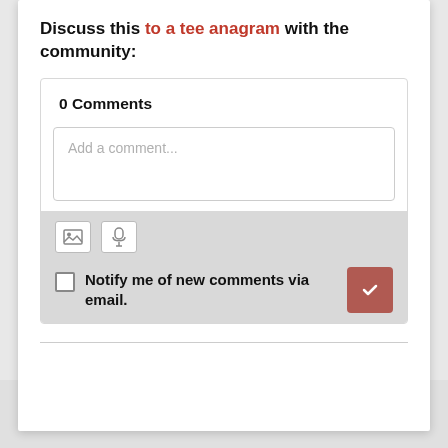Discuss this to a tee anagram with the community:
0 Comments
[Figure (screenshot): Comment input box UI with placeholder text 'Add a comment...']
[Figure (screenshot): Toolbar area with image icon and microphone icon, a checkbox 'Notify me of new comments via email.' and a submit button]
Notify me of new comments via email.